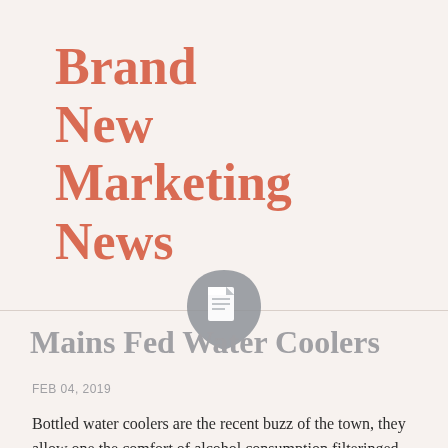Brand New Marketing News
[Figure (illustration): A grey teardrop/shield shaped icon containing a white document/page icon in the center]
Mains Fed Water Coolers
FEB 04, 2019
Bottled water coolers are the recent buzz of the town, they allow one the comfort of alcohol consumption filteringed system water at all times. A mineral water